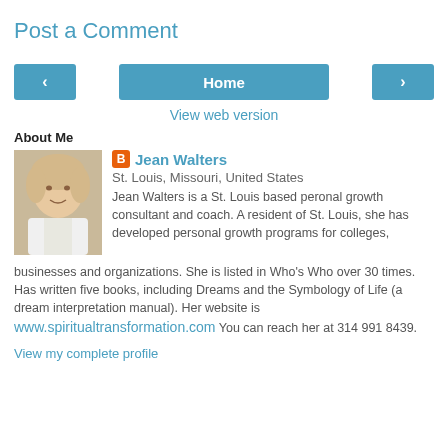Post a Comment
< Home >
View web version
About Me
[Figure (photo): Profile photo of Jean Walters, a woman with short blonde hair wearing a white top]
Jean Walters
St. Louis, Missouri, United States
Jean Walters is a St. Louis based peronal growth consultant and coach. A resident of St. Louis, she has developed personal growth programs for colleges, businesses and organizations. She is listed in Who's Who over 30 times. Has written five books, including Dreams and the Symbology of Life (a dream interpretation manual). Her website is www.spiritualtransformation.com You can reach her at 314 991 8439.
View my complete profile